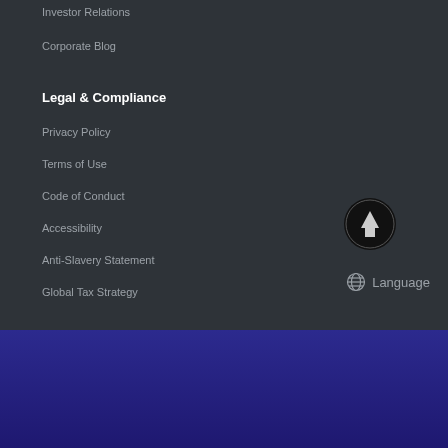Investor Relations
Corporate Blog
Legal & Compliance
Privacy Policy
Terms of Use
Code of Conduct
Accessibility
Anti-Slavery Statement
Global Tax Strategy
[Figure (illustration): Circular black button with upward arrow icon (scroll to top)]
Language
Micro Focus uses cookies to give you the best online experience. If you continue to use this site, you agree to the use of cookies. Please see our cookie policy for details.